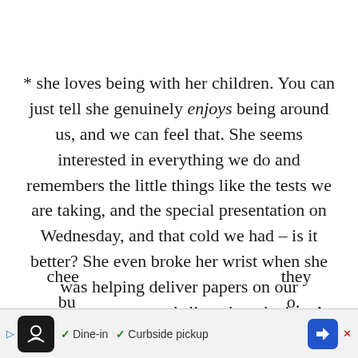* she loves being with her children. You can just tell she genuinely enjoys being around us, and we can feel that. She seems interested in everything we do and remembers the little things like the tests we are taking, and the special presentation on Wednesday, and that cold we had – is it better? She even broke her wrist when she was helping deliver papers on our newspaper route and slipped on the ice. A friend commented to me once that she had never seen parents who like being around their kids so much. Even in retirement when most are down-sizing and chee... they bu... o.
[Figure (other): Advertisement banner at bottom: restaurant icon, Dine-in and Curbside pickup options with checkmarks, navigation arrow icon]